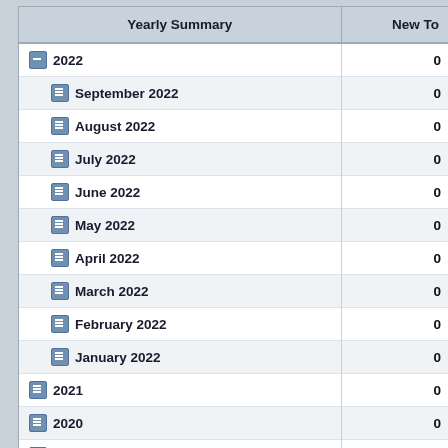| Yearly Summary | New To |
| --- | --- |
| 2022 | 0 |
| September 2022 | 0 |
| August 2022 | 0 |
| July 2022 | 0 |
| June 2022 | 0 |
| May 2022 | 0 |
| April 2022 | 0 |
| March 2022 | 0 |
| February 2022 | 0 |
| January 2022 | 0 |
| 2021 | 0 |
| 2020 | 0 |
| 2019 | 0 |
| 2018 | 0 |
| 2017 | 1 |
| December 2017 | 0 |
| November 2017 | ... |